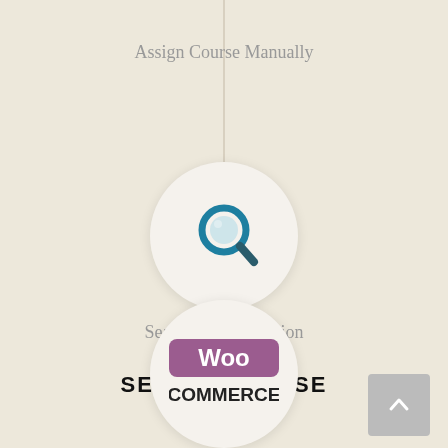Assign Course Manually
[Figure (illustration): Magnifying glass search icon inside a circular white badge with shadow, teal/blue colored]
Search Course Option
SENSEI COURSE
[Figure (logo): WooCommerce logo inside a circular white badge with shadow — purple 'Woo' text and dark 'COMMERCE' below]
[Figure (other): Scroll-to-top button in bottom right corner, grey square with upward chevron]